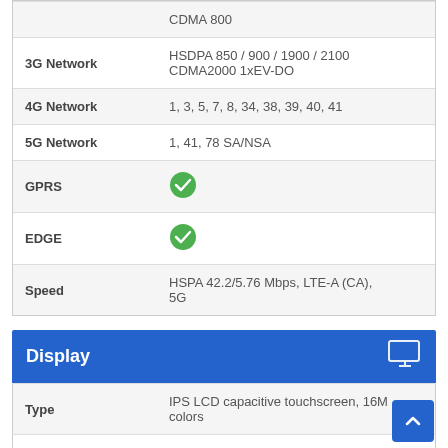| Feature | Value |
| --- | --- |
|  | CDMA 800 |
| 3G Network | HSDPA 850 / 900 / 1900 / 2100
CDMA2000 1xEV-DO |
| 4G Network | 1, 3, 5, 7, 8, 34, 38, 39, 40, 41 |
| 5G Network | 1, 41, 78 SA/NSA |
| GPRS | ✓ |
| EDGE | ✓ |
| Speed | HSPA 42.2/5.76 Mbps, LTE-A (CA), 5G |
Display
| Feature | Value |
| --- | --- |
| Type | IPS LCD capacitive touchscreen, 16M colors |
| Size | 6.5 inches, 102.0 cm2 (~83.7% |